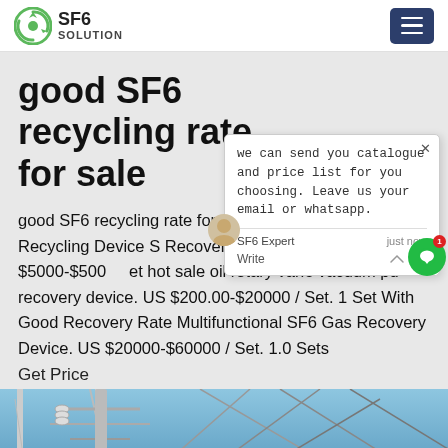SF6 SOLUTION
good SF6 recycling rate for sale
good SF6 recycling rate for saleSF6 Equipment Gas Recycling Device S Recovery Machine. US $5000-$500 et hot sale oil rotary vane vacuum pu recovery device. US $200.00-$20000 / Set. 1 Set With Good Recovery Rate Multifunctional SF6 Gas Recovery Device. US $20000-$60000 / Set. 1.0 Sets
Get Price
[Figure (photo): Industrial electrical equipment / power lines infrastructure photo at bottom of page]